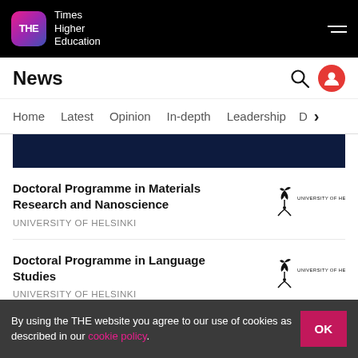Times Higher Education
News
Home | Latest | Opinion | In-depth | Leadership | D
[Figure (other): Dark navy blue banner strip]
Doctoral Programme in Materials Research and Nanoscience
UNIVERSITY OF HELSINKI
[Figure (logo): University of Helsinki logo - bird emblem with text]
Doctoral Programme in Language Studies
UNIVERSITY OF HELSINKI
[Figure (logo): University of Helsinki logo - bird emblem with text]
By using the THE website you agree to our use of cookies as described in our cookie policy.